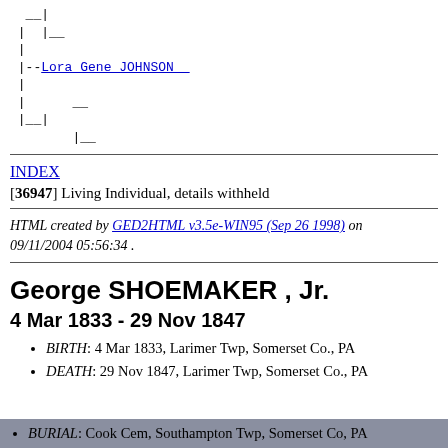[Figure (other): Genealogy tree diagram showing branch lines with a link to Lora Gene JOHNSON]
INDEX
[36947] Living Individual, details withheld
HTML created by GED2HTML v3.5e-WIN95 (Sep 26 1998) on 09/11/2004 05:56:34 .
George SHOEMAKER , Jr.
4 Mar 1833 - 29 Nov 1847
BIRTH: 4 Mar 1833, Larimer Twp, Somerset Co., PA
DEATH: 29 Nov 1847, Larimer Twp, Somerset Co., PA
BURIAL: Cook Cem, Southampton Twp, Somerset Co, PA